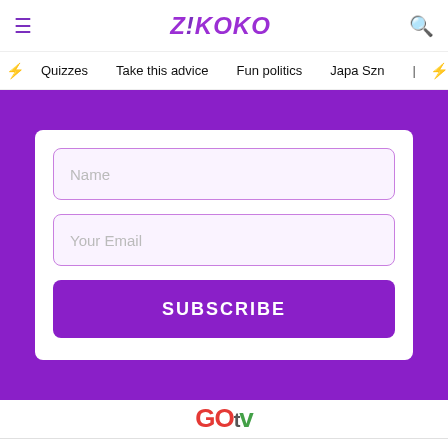Z!KOKO
Quizzes  Take this advice  Fun politics  Japa Szn
[Figure (screenshot): Email subscribe form with Name and Your Email input fields and a purple SUBSCRIBE button, on a purple background]
[Figure (logo): GOtv logo in red and green]
[Figure (screenshot): Advertisement banner: Shop Back To School Deals - Leesburg Premium Outlets]